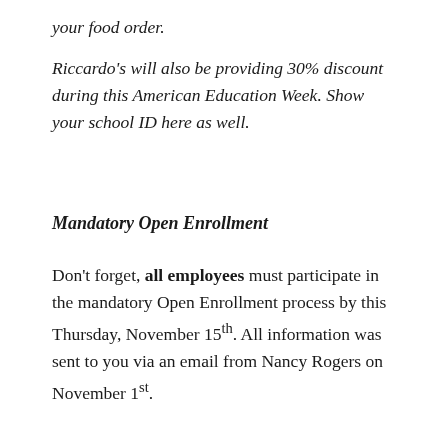your food order.
Riccardo's will also be providing 30% discount during this American Education Week. Show your school ID here as well.
Mandatory Open Enrollment
Don't forget, all employees must participate in the mandatory Open Enrollment process by this Thursday, November 15th. All information was sent to you via an email from Nancy Rogers on November 1st.